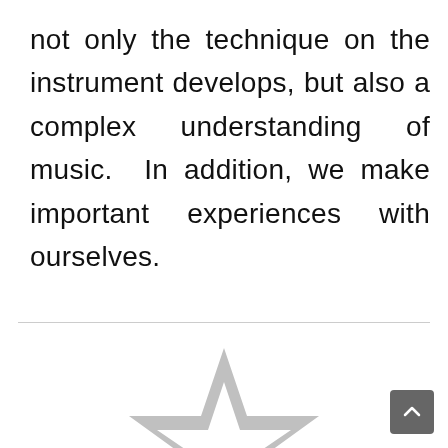not only the technique on the instrument develops, but also a complex understanding of music.  In addition, we make important experiences with ourselves.
[Figure (illustration): A large outlined star icon in light gray, centered in the lower half of the page below a horizontal divider line.]